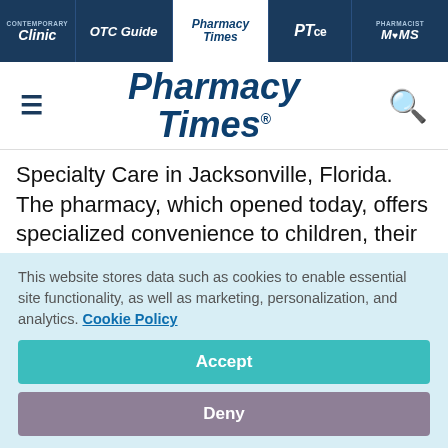Clinic | OTC Guide | Pharmacy Times | PTce | Pharmacist MOMS
[Figure (logo): Pharmacy Times logo with hamburger menu and search icon]
Specialty Care in Jacksonville, Florida. The pharmacy, which opened today, offers specialized convenience to children, their families and Nemours employees at the outpatient specialty care practice
This website stores data such as cookies to enable essential site functionality, as well as marketing, personalization, and analytics. Cookie Policy Accept Deny